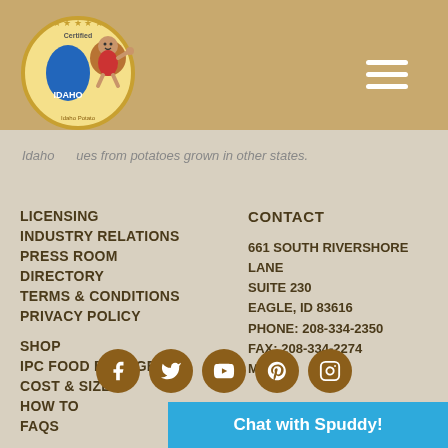[Figure (logo): Idaho Certified Potato Commission circular badge logo with potato mascot character]
[Figure (other): Hamburger navigation menu icon (three horizontal white lines)]
Idaho   ues from potatoes grown in other states.
LICENSING
INDUSTRY RELATIONS
PRESS ROOM
DIRECTORY
TERMS & CONDITIONS
PRIVACY POLICY
SHOP
IPC FOOD BLOGGERS
COST & SIZE
HOW TO
FAQS
CONTACT
661 SOUTH RIVERSHORE LANE
SUITE 230
EAGLE, ID 83616
PHONE: 208-334-2350
FAX: 208-334-2274
MORE
[Figure (other): Row of 5 social media icons: Facebook, Twitter, YouTube, Pinterest, Instagram — all brown circular buttons with white icons]
Chat with Spuddy!